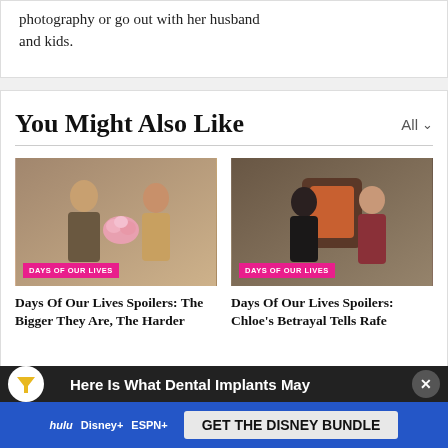photography or go out with her husband and kids.
You Might Also Like
[Figure (photo): Days of Our Lives still: man presenting flowers to woman]
DAYS OF OUR LIVES
Days Of Our Lives Spoilers: The Bigger They Are, The Harder
[Figure (photo): Days of Our Lives still: two women facing each other indoors]
DAYS OF OUR LIVES
Days Of Our Lives Spoilers: Chloe's Betrayal Tells Rafe
Here Is What Dental Implants May
[Figure (screenshot): Disney Bundle advertisement banner: Hulu, Disney+, ESPN+ logos with GET THE DISNEY BUNDLE button]